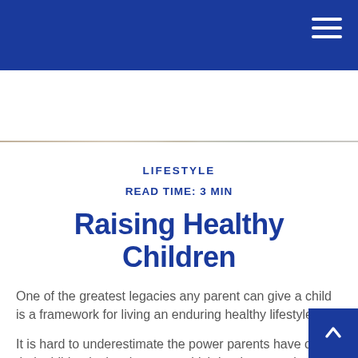LIFESTYLE
[Figure (photo): Close-up photo of a child wearing a knit sweater, blurred background]
LIFESTYLE
READ TIME: 3 MIN
Raising Healthy Children
One of the greatest legacies any parent can give a child is a framework for living an enduring healthy lifestyle.
It is hard to underestimate the power parents have on their children's development, which is why parenting is such a profound responsibility.
The attitudes and habits formed in childhood can